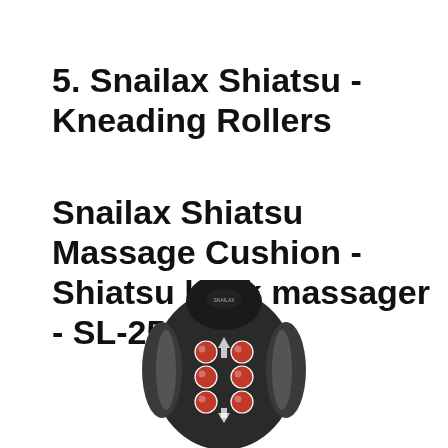5. Snailax Shiatsu - Kneading Rollers
Snailax Shiatsu Massage Cushion - Shiatsu back massager - SL-256
[Figure (photo): Photo of a Snailax Shiatsu massage cushion (SL-256) shown from the front, dark gray/black color with visible kneading roller nodes in red and a Snailax logo on the headrest.]